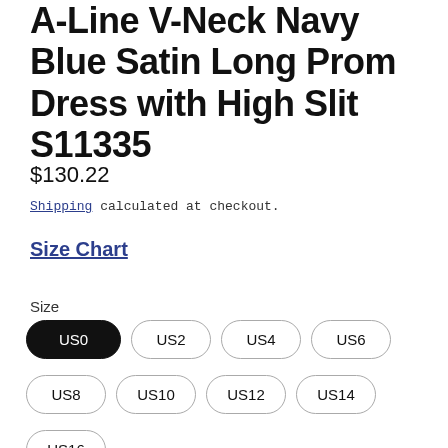A-Line V-Neck Navy Blue Satin Long Prom Dress with High Slit S11335
$130.22
Shipping calculated at checkout.
Size Chart
Size
US0 US2 US4 US6 US8 US10 US12 US14 US16